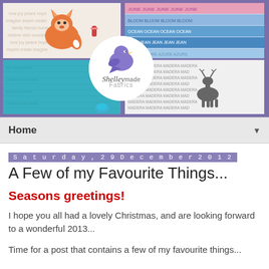[Figure (photo): Blog header banner with purple background showing four fabric/craft images: fox pillow cushion, stacked blue fabric rolls, teal fabric, and deer-print fabric. Center has a circular logo with a purple bird.]
Home
Saturday, 29 December 2012
A Few of my Favourite Things...
Seasons greetings!
I hope you all had a lovely Christmas, and are looking forward to a wonderful 2013...
Time for a post that contains a few of my favourite things...